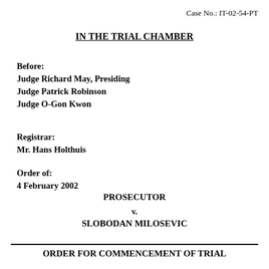Case No.: IT-02-54-PT
IN THE TRIAL CHAMBER
Before:
Judge Richard May, Presiding
Judge Patrick Robinson
Judge O-Gon Kwon
Registrar:
Mr. Hans Holthuis
Order of:
4 February 2002
PROSECUTOR
v.
SLOBODAN MILOSEVIC
ORDER FOR COMMENCEMENT OF TRIAL